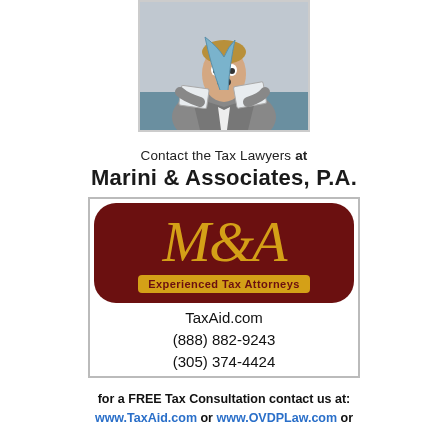[Figure (photo): Man in suit looking shocked at papers, tie blowing up around his face]
Contact the Tax Lawyers at
Marini & Associates, P.A.
[Figure (logo): M&A logo with dark red rounded rectangle background, gold italic M&A lettering, and 'Experienced Tax Attorneys' tagline, with TaxAid.com, (888) 882-9243, (305) 374-4424]
for a FREE Tax Consultation contact us at:
www.TaxAid.com or www.OVDPLaw.com or